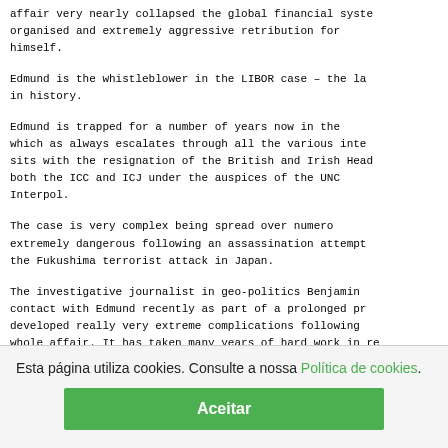affair very nearly collapsed the global financial system, organised and extremely aggressive retribution for himself.
Edmund is the whistleblower in the LIBOR case – the la in history.
Edmund is trapped for a number of years now in the which as always escalates through all the various inte sits with the resignation of the British and Irish Head both the ICC and ICJ under the auspices of the UNC Interpol.
The case is very complex being spread over numero extremely dangerous following an assassination attempt the Fukushima terrorist attack in Japan.
The investigative journalist in geo-politics Benjamin contact with Edmund recently as part of a prolonged pr developed really very extreme complications following whole affair. It has taken many years of hard work in re
Edmund has prepared himself to go public to speak about the proper processes to be put in place to end the ent
Esta página utiliza cookies. Consulte a nossa Política de cookies.
Aceitar